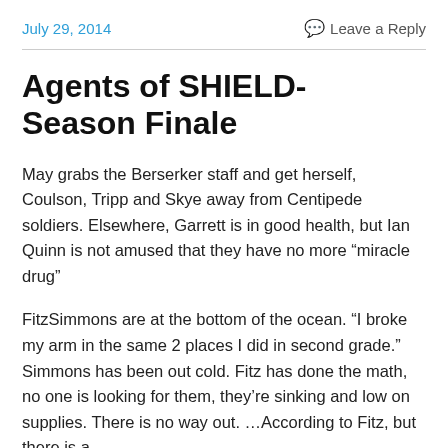July 29, 2014
Leave a Reply
Agents of SHIELD- Season Finale
May grabs the Berserker staff and get herself, Coulson, Tripp and Skye away from Centipede soldiers. Elsewhere, Garrett is in good health, but Ian Quinn is not amused that they have no more “miracle drug”
FitzSimmons are at the bottom of the ocean. “I broke my arm in the same 2 places I did in second grade.” Simmons has been out cold. Fitz has done the math, no one is looking for them, they’re sinking and low on supplies. There is no way out. …According to Fitz, but there is a